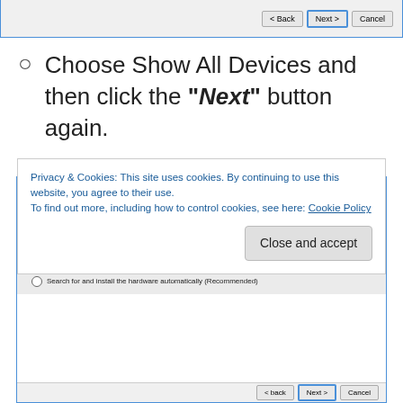[Figure (screenshot): Top portion of a Windows dialog box with Back, Next, and Cancel buttons. Next button is highlighted with blue border.]
Choose Show All Devices and then click the "Next" button again.
[Figure (screenshot): Add Hardware wizard dialog showing 'The wizard can help you install other hardware' with options to search for hardware automatically or select from list.]
Privacy & Cookies: This site uses cookies. By continuing to use this website, you agree to their use.
To find out more, including how to control cookies, see here: Cookie Policy
Close and accept